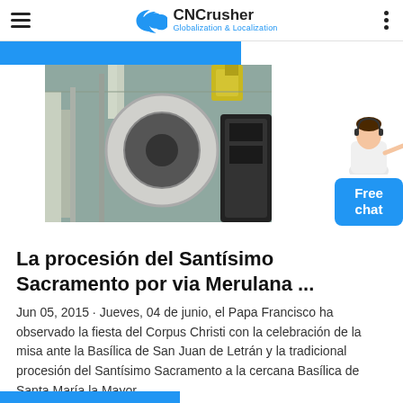CNCrusher — Globalization & Localization
[Figure (photo): Industrial machinery / crusher equipment, showing a large cylindrical component with metal framework]
La procesión del Santísimo Sacramento por via Merulana ...
Jun 05, 2015 · Jueves, 04 de junio, el Papa Francisco ha observado la fiesta del Corpus Christi con la celebración de la misa ante la Basílica de San Juan de Letrán y la tradicional procesión del Santísimo Sacramento a la cercana Basílica de Santa María la Mayor.